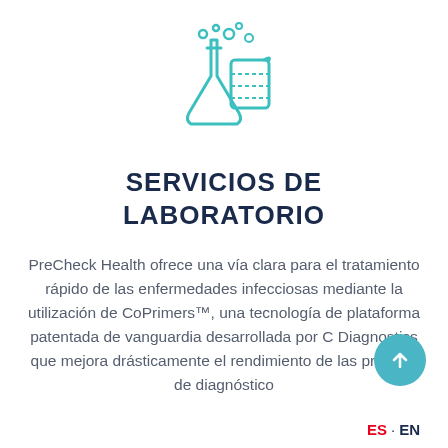[Figure (illustration): Teal/turquoise line-art icon of a laboratory flask (Erlenmeyer) and a beaker with bubbles, centered at top of page]
SERVICIOS DE LABORATORIO
PreCheck Health ofrece una vía clara para el tratamiento rápido de las enfermedades infecciosas mediante la utilización de CoPrimers™, una tecnología de plataforma patentada de vanguardia desarrollada por C Diagnostics que mejora drásticamente el rendimiento de las pruebas de diagnóstico